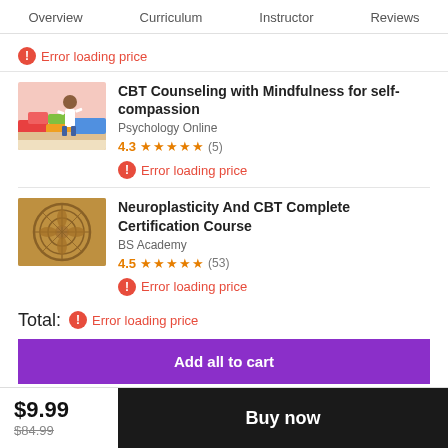Overview   Curriculum   Instructor   Reviews
Error loading price
[Figure (illustration): Thumbnail of child standing in front of colorful furniture, pink background]
CBT Counseling with Mindfulness for self-compassion
Psychology Online
4.3 ★★★★½ (5)
Error loading price
[Figure (illustration): Thumbnail of ancient circular stone carving or mandala on aged background]
Neuroplasticity And CBT Complete Certification Course
BS Academy
4.5 ★★★★½ (53)
Error loading price
Total:  Error loading price
Add all to cart
$9.99
$84.99
Buy now